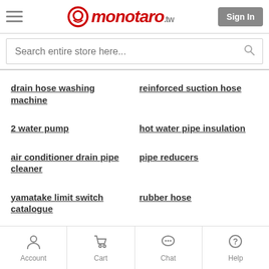monotaro.tw — Sign In
Search entire store here...
drain hose washing machine
reinforced suction hose
2 water pump
hot water pipe insulation
air conditioner drain pipe cleaner
pipe reducers
yamatake limit switch catalogue
rubber hose
Account  Cart  Chat  Help